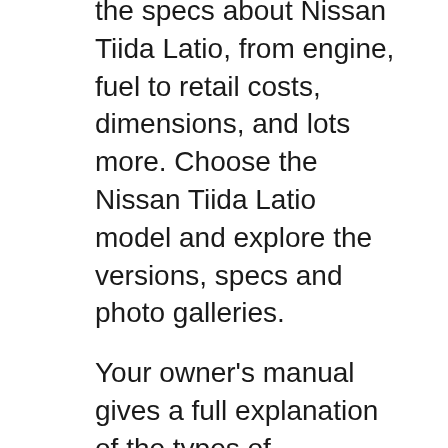the specs about Nissan Tiida Latio, from engine, fuel to retail costs, dimensions, and lots more. Choose the Nissan Tiida Latio model and explore the versions, specs and photo galleries.
Your owner's manual gives a full explanation of the types of maintenance as well as the time intervals when the services should be performed. Alternatively please contact your local Nissan Dealer on 0800 4 NISSAN (0800 4647726) between 8.30am and 5pm week days, to get an idea of what kind of maintenance your vehicle requires and when based on 25/01/2013 · I have been driving my Tiida now for 2.5 years with no problems. Some of the things